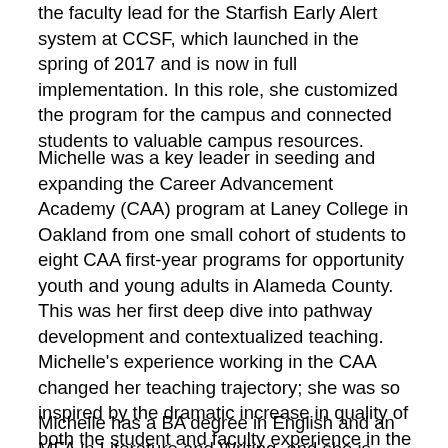the faculty lead for the Starfish Early Alert system at CCSF, which launched in the spring of 2017 and is now in full implementation. In this role, she customized the program for the campus and connected students to valuable campus resources.
Michelle was a key leader in seeding and expanding the Career Advancement Academy (CAA) program at Laney College in Oakland from one small cohort of students to eight CAA first-year programs for opportunity youth and young adults in Alameda County. This was her first deep dive into pathway development and contextualized teaching. Michelle’s experience working in the CAA changed her teaching trajectory; she was so inspired by the dramatic increase in quality of both the student and faculty experience in the CAA that she sought out similar programs for CCSF.
Michelle has a BA degree in English and an MFA in Literature and Writing, and she is currently